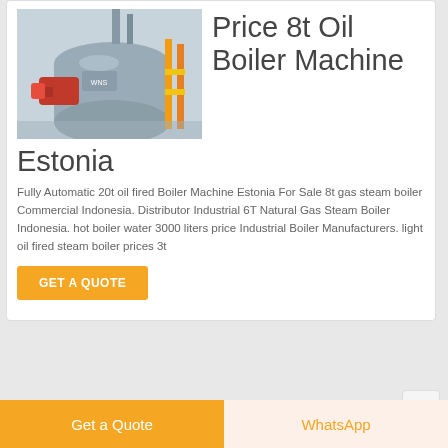[Figure (photo): Industrial oil boiler machine with large cylindrical tank, red burner components, and yellow structural support in a factory setting]
Price 8t Oil Boiler Machine Estonia
Fully Automatic 20t oil fired Boiler Machine Estonia For Sale 8t gas steam boiler Commercial Indonesia. Distributor Industrial 6T Natural Gas Steam Boiler Indonesia. hot boiler water 3000 liters price Industrial Boiler Manufacturers. light oil fired steam boiler prices 3t
[Figure (photo): Industrial boiler equipment inside a building, second listing card partially visible]